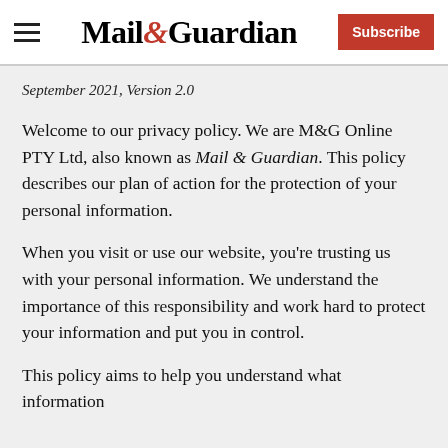Mail & Guardian — Subscribe
September 2021, Version 2.0
Welcome to our privacy policy. We are M&G Online PTY Ltd, also known as Mail & Guardian. This policy describes our plan of action for the protection of your personal information.
When you visit or use our website, you're trusting us with your personal information. We understand the importance of this responsibility and work hard to protect your information and put you in control.
This policy aims to help you understand what information